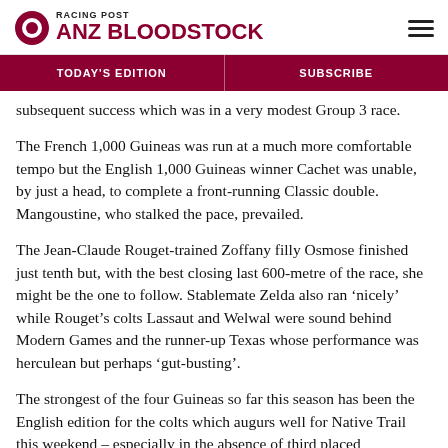[Figure (logo): Racing Post ANZ Bloodstock logo with red circle and text]
TODAY'S EDITION | SUBSCRIBE
subsequent success which was in a very modest Group 3 race.
The French 1,000 Guineas was run at a much more comfortable tempo but the English 1,000 Guineas winner Cachet was unable, by just a head, to complete a front-running Classic double. Mangoustine, who stalked the pace, prevailed.
The Jean-Claude Rouget-trained Zoffany filly Osmose finished just tenth but, with the best closing last 600-metre of the race, she might be the one to follow. Stablemate Zelda also ran ‘nicely’ while Rouget’s colts Lassaut and Welwal were sound behind Modern Games and the runner-up Texas whose performance was herculean but perhaps ‘gut-busting’.
The strongest of the four Guineas so far this season has been the English edition for the colts which augurs well for Native Trail this weekend – especially in the absence of third placed Luxembourg who’s sidelined with a muscle injury.
Berkshire Shadow, resuming, was the best of the on-speed